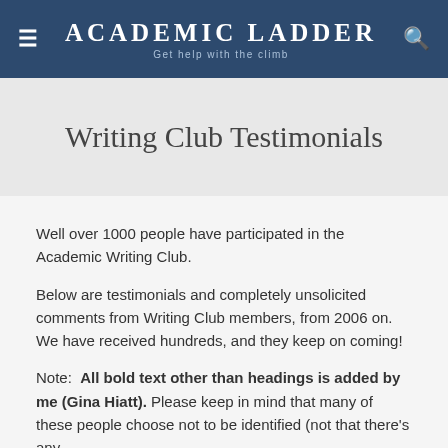Academic Ladder — Get help with the climb
Writing Club Testimonials
Well over 1000 people have participated in the Academic Writing Club.
Below are testimonials and completely unsolicited comments from Writing Club members, from 2006 on. We have received hundreds, and they keep on coming!
Note: All bold text other than headings is added by me (Gina Hiatt). Please keep in mind that many of these people choose not to be identified (not that there's any